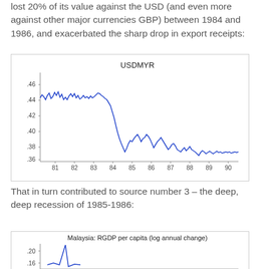lost 20% of its value against the USD (and even more against other major currencies GBP) between 1984 and 1986, and exacerbated the sharp drop in export receipts:
[Figure (continuous-plot): Line chart of USDMYR exchange rate from 1981 to 1990, showing a decline from around 0.44-0.46 in 1981 to approximately 0.37 by 1990, with a notable sharp drop around 1985.]
That in turn contributed to source number 3 – the deep, deep recession of 1985-1986:
[Figure (continuous-plot): Line chart of Malaysia RGDP per capita log annual change, showing values around 0.16-0.20 range at top of visible chart area.]